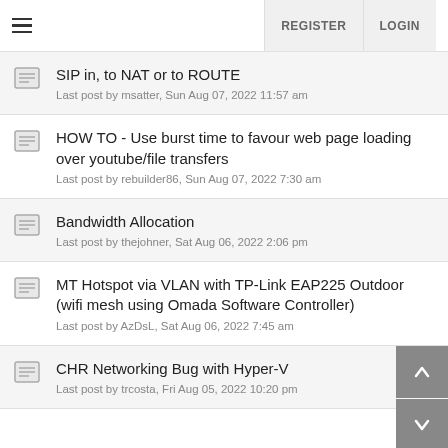REGISTER  LOGIN
SIP in, to NAT or to ROUTE
Last post by msatter, Sun Aug 07, 2022 11:57 am
HOW TO - Use burst time to favour web page loading over youtube/file transfers
Last post by rebuilder86, Sun Aug 07, 2022 7:30 am
Bandwidth Allocation
Last post by thejohner, Sat Aug 06, 2022 2:06 pm
MT Hotspot via VLAN with TP-Link EAP225 Outdoor (wifi mesh using Omada Software Controller)
Last post by AzDsL, Sat Aug 06, 2022 7:45 am
CHR Networking Bug with Hyper-V
Last post by trcosta, Fri Aug 05, 2022 10:20 pm